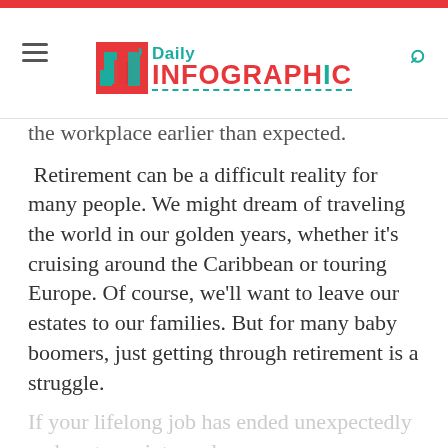Daily Infographic
the workplace earlier than expected.
Retirement can be a difficult reality for many people. We might dream of traveling the world in our golden years, whether it's cruising around the Caribbean or touring Europe. Of course, we'll want to leave our estates to our families. But for many baby boomers, just getting through retirement is a struggle.
If your lifelong job has ended unexpectedly and sent you into early